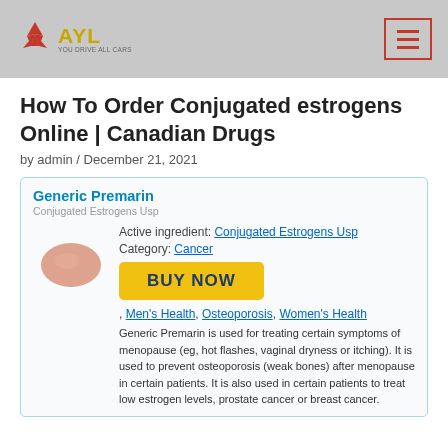AYL | Mitsubishi Motors logo and navigation header
How To Order Conjugated estrogens Online | Canadian Drugs
by admin / December 21, 2021
[Figure (infographic): Drug information box for Generic Premarin (Conjugated Estrogens Usp) with pill image, active ingredient link, category link, BUY NOW button, category tags, and description text.]